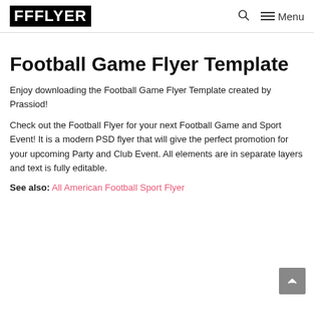FFFLYER  🔍  ☰ Menu
Football Game Flyer Template
Enjoy downloading the Football Game Flyer Template created by Prassiod!
Check out the Football Flyer for your next Football Game and Sport Event! It is a modern PSD flyer that will give the perfect promotion for your upcoming Party and Club Event. All elements are in separate layers and text is fully editable.
See also: All American Football Sport Flyer